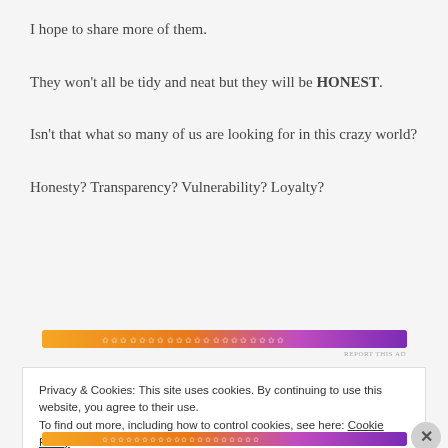I hope to share more of them.
They won't all be tidy and neat but they will be HONEST.
Isn't that what so many of us are looking for in this crazy world?
Honesty? Transparency? Vulnerability? Loyalty?
[Figure (other): Decorative banner ad — gradient bar from orange to purple with floral pattern]
REPORT THIS AD
Privacy & Cookies: This site uses cookies. By continuing to use this website, you agree to their use.
To find out more, including how to control cookies, see here: Cookie Policy
Close and accept
[Figure (other): Decorative banner ad — gradient bar from orange to purple with floral pattern (bottom)]
REPORT THIS AD